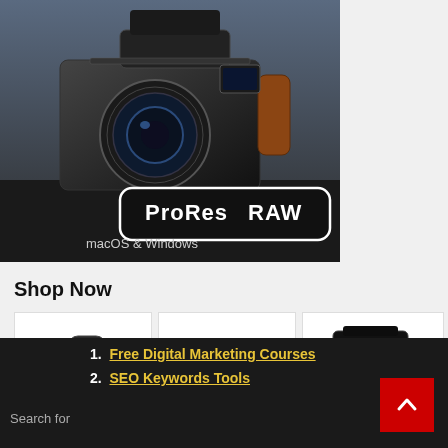[Figure (photo): Professional cinema camera rig with large lens on a dark background, with a rounded rectangle badge overlay reading 'ProRes RAW' and subtitle 'macOS & Windows']
Shop Now
[Figure (photo): Small PTZ-style webcam/conference camera with wide-angle lens, black, on white background]
[Figure (photo): PTZ camera with remote control, gray/silver, on white background]
[Figure (photo): Professional handheld broadcast camera, black, on white background]
Search for
1. Free Digital Marketing Courses
2. SEO Keywords Tools